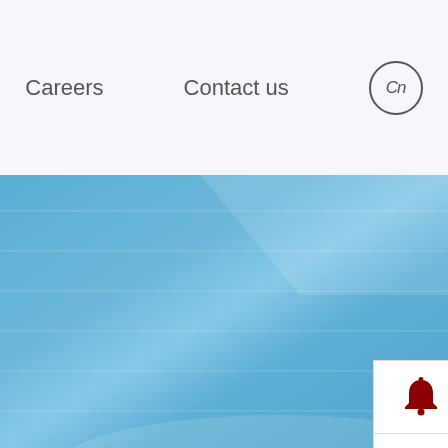Careers    Contact us    Cn
[Figure (screenshot): Blue gradient background section with horizontal light stripe effects]
[Figure (infographic): White sidebar widget panel with three red icons: bell (notification), Skype 'S' logo, and envelope (mail)]